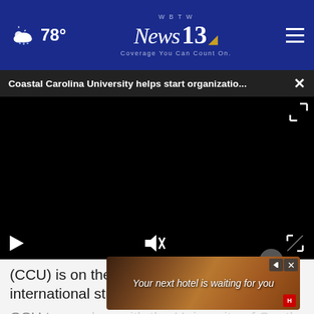78° WBTW News 13 Coverage You Can Count On.
Coastal Carolina University helps start organizatio...
[Figure (screenshot): Black video player area with play button and mute/fullscreen controls]
(CCU) is on the lookout for more international students.
CCU teamed up with the University of South Carolina
[Figure (photo): Advertisement banner: Your next hotel is waiting for you]